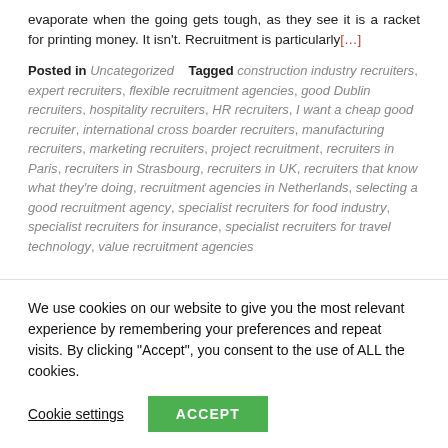evaporate when the going gets tough, as they see it is a racket for printing money. It isn't. Recruitment is particularly[...]
Posted in Uncategorized   Tagged construction industry recruiters, expert recruiters, flexible recruitment agencies, good Dublin recruiters, hospitality recruiters, HR recruiters, I want a cheap good recruiter, international cross boarder recruiters, manufacturing recruiters, marketing recruiters, project recruitment, recruiters in Paris, recruiters in Strasbourg, recruiters in UK, recruiters that know what they're doing, recruitment agencies in Netherlands, selecting a good recruitment agency, specialist recruiters for food industry, specialist recruiters for insurance, specialist recruiters for travel technology, value recruitment agencies
We use cookies on our website to give you the most relevant experience by remembering your preferences and repeat visits. By clicking "Accept", you consent to the use of ALL the cookies.
Cookie settings   ACCEPT